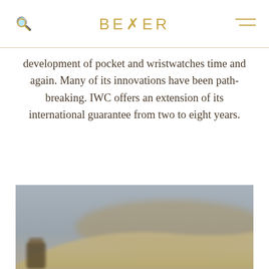BEYER
development of pocket and wristwatches time and again. Many of its innovations have been path-breaking. IWC offers an extension of its international guarantee from two to eight years.
[Figure (photo): Blurred outdoor photo showing sandy desert dunes with a blurred watch or object in the lower left corner, against a muted sky background.]